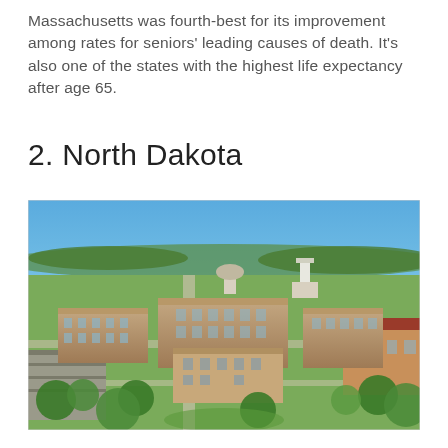Massachusetts was fourth-best for its improvement among rates for seniors' leading causes of death. It's also one of the states with the highest life expectancy after age 65.
2. North Dakota
[Figure (photo): Aerial view of a North Dakota city (likely Fargo or Bismarck), showing brick university or civic buildings surrounded by green trees, streets, and parking structures under a blue sky.]